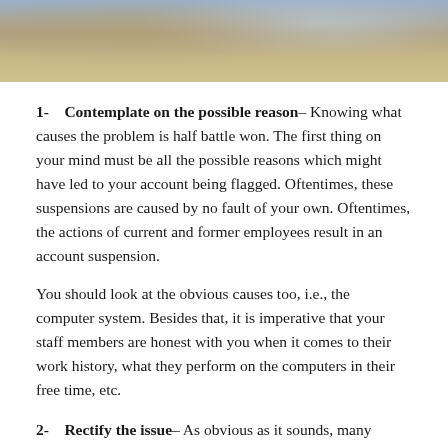[Figure (photo): Person at desk working on laptop, hands visible on keyboard, glasses resting on laptop, tablet visible, blue shirt, office/desk setting]
1-  Contemplate on the possible reason– Knowing what causes the problem is half battle won. The first thing on your mind must be all the possible reasons which might have led to your account being flagged. Oftentimes, these suspensions are caused by no fault of your own. Oftentimes, the actions of current and former employees result in an account suspension.
You should look at the obvious causes too, i.e., the computer system. Besides that, it is imperative that your staff members are honest with you when it comes to their work history, what they perform on the computers in their free time, etc.
2-  Rectify the issue– As obvious as it sounds, many people do not rectify the issue and hope that amazon does not flag them in the future. These are false hopes which are bound to shatter on